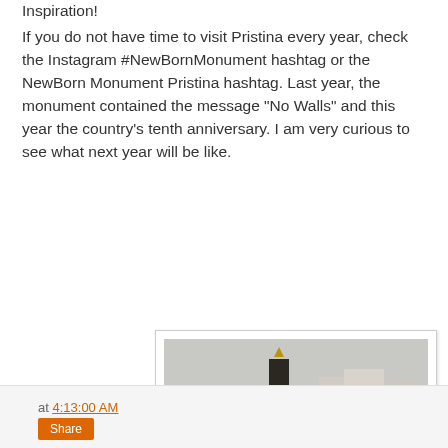Inspiration!
If you do not have time to visit Pristina every year, check the Instagram #NewBornMonument hashtag or the NewBorn Monument Pristina hashtag. Last year, the monument contained the message "No Walls" and this year the country's tenth anniversary. I am very curious to see what next year will be like.
[Figure (photo): Photo of the NewBorn Monument in Pristina showing large concrete letters spelling NEWBORN with graffiti on them, set on a brick plaza with buildings in the background]
NewBorn Monument
at 4:13:00 AM